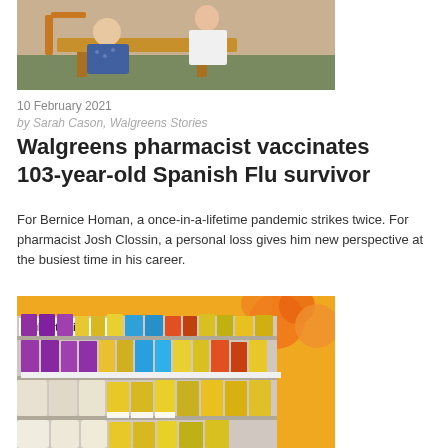[Figure (photo): Photo of a Walgreens pharmacist administering a vaccine to an elderly patient seated at a table]
10 February 2021
by Sarah Cason, Walgreens Stories
Walgreens pharmacist vaccinates 103-year-old Spanish Flu survivor
For Bernice Homan, a once-in-a-lifetime pandemic strikes twice. For pharmacist Josh Clossin, a personal loss gives him new perspective at the busiest time in his career.
[Figure (photo): Photo of a Walgreens store aisle with multivitamins shelves stocked with various vitamin and supplement products]